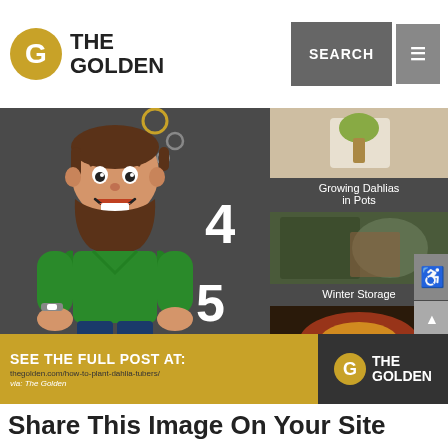THE GOLDEN — SEARCH
[Figure (infographic): Infographic showing a cartoon man in green shirt with numbered list items (4, 5) alongside thumbnail images for 'Growing Dahlias in Pots', 'Winter Storage', and 'Common Pests and Diseases' on a dark gray background. Footer banner reads 'SEE THE FULL POST AT:' with URL and The Golden logo.]
Growing Dahlias in Pots
Winter Storage
Common Pests and Diseases
via: The Golden
thegolden.com/how-to-plant-dahlia-tubers/
Share This Image On Your Site